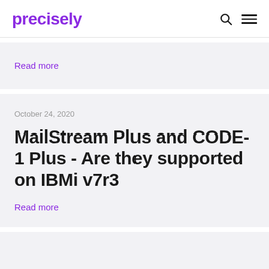precisely
Read more
October 24, 2020
MailStream Plus and CODE-1 Plus - Are they supported on IBMi v7r3
Read more